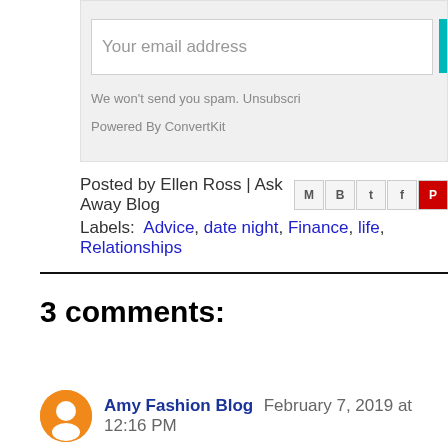Your email address
We won't send you spam. Unsubscri
Powered By ConvertKit
Posted by Ellen Ross | Ask Away Blog
Labels: Advice, date night, Finance, life, Relationships
3 comments:
Amy Fashion Blog  February 7, 2019 at 12:16 PM